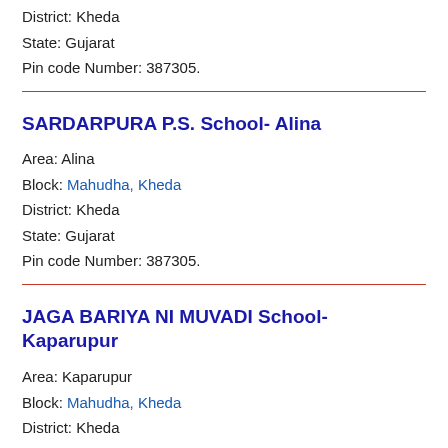District: Kheda
State: Gujarat
Pin code Number: 387305.
SARDARPURA P.S. School- Alina
Area: Alina
Block: Mahudha, Kheda
District: Kheda
State: Gujarat
Pin code Number: 387305.
JAGA BARIYA NI MUVADI School- Kaparupur
Area: Kaparupur
Block: Mahudha, Kheda
District: Kheda